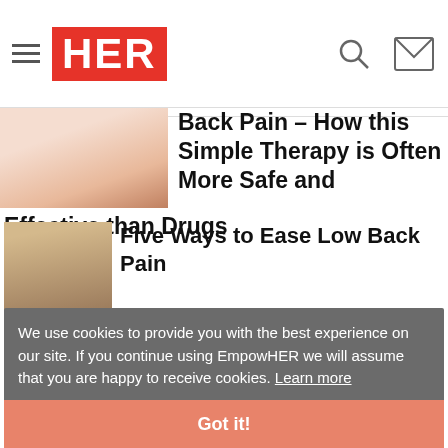HER
Back Pain – How this Simple Therapy is Often More Safe and Effective than Drugs
By Joanna Karpasea-Jones
[Figure (photo): Woman with back pain]
Five Ways to Ease Low Back Pain
By Joanna Karpasea-Jones
[Figure (photo): Woman smiling, EMPOWERED badge]
Implanted Intrathecal Pain Pumps
By Gary Cook BSN RN
[Figure (photo): Woman with red hair]
We use cookies to provide you with the best experience on our site. If you continue using EmpowHER we will assume that you are happy to receive cookies. Learn more
Got it!